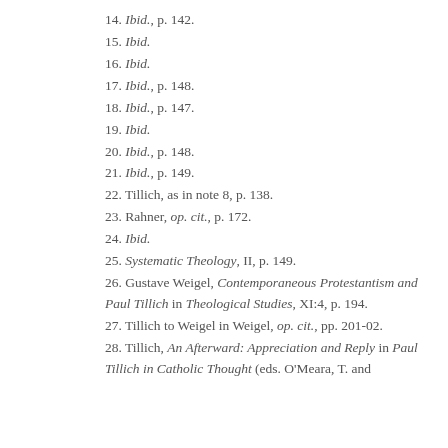14. Ibid., p. 142.
15. Ibid.
16. Ibid.
17. Ibid., p. 148.
18. Ibid., p. 147.
19. Ibid.
20. Ibid., p. 148.
21. Ibid., p. 149.
22. Tillich, as in note 8, p. 138.
23. Rahner, op. cit., p. 172.
24. Ibid.
25. Systematic Theology, II, p. 149.
26. Gustave Weigel, Contemporaneous Protestantism and Paul Tillich in Theological Studies, XI:4, p. 194.
27. Tillich to Weigel in Weigel, op. cit., pp. 201-02.
28. Tillich, An Afterward: Appreciation and Reply in Paul Tillich in Catholic Thought (eds. O'Meara, T. and